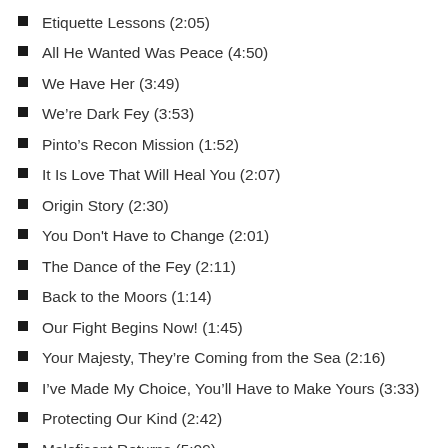Etiquette Lessons (2:05)
All He Wanted Was Peace (4:50)
We Have Her (3:49)
We’re Dark Fey (3:53)
Pinto’s Recon Mission (1:52)
It Is Love That Will Heal You (2:07)
Origin Story (2:30)
You Don't Have to Change (2:01)
The Dance of the Fey (2:11)
Back to the Moors (1:14)
Our Fight Begins Now! (1:45)
Your Majesty, They’re Coming from the Sea (2:16)
I’ve Made My Choice, You’ll Have to Make Yours (3:33)
Protecting Our Kind (2:42)
Maleficent Returns (5:09)
The Phoenix (4:41)